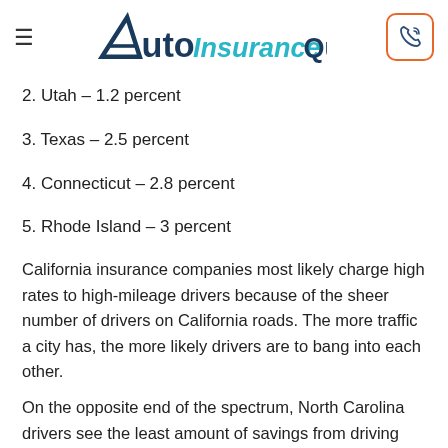AutoInsuranceQuote
2. Utah – 1.2 percent
3. Texas – 2.5 percent
4. Connecticut – 2.8 percent
5. Rhode Island – 3 percent
California insurance companies most likely charge high rates to high-mileage drivers because of the sheer number of drivers on California roads. The more traffic a city has, the more likely drivers are to bang into each other.
On the opposite end of the spectrum, North Carolina drivers see the least amount of savings from driving